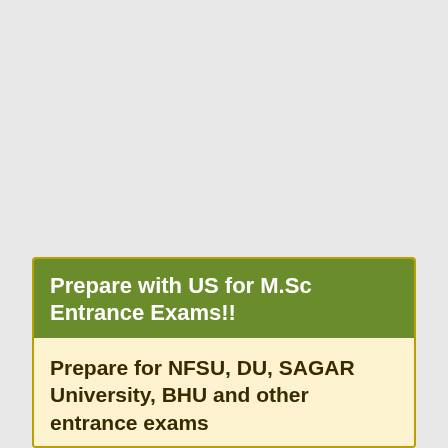Prepare with US for M.Sc Entrance Exams!!
Prepare for NFSU, DU, SAGAR University, BHU and other entrance exams